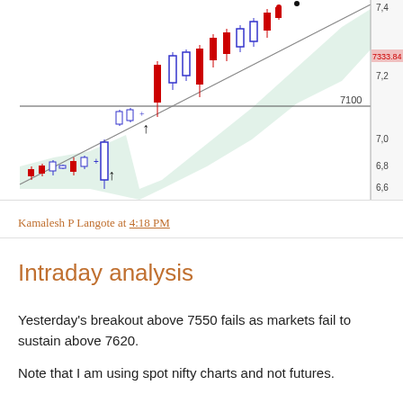[Figure (continuous-plot): Intraday candlestick chart showing Nifty spot price with green shaded Bollinger band / channel region. Red bearish candles and blue/white bullish candles visible. Price labels on right axis: 7,4; 7333.84; 7,2; 7100; 7,0; 6,8; 6,6. Horizontal line at 7100. Diagonal trendline from lower left to upper right. Upward arrow annotations on chart.]
Kamalesh P Langote at 4:18 PM
Intraday analysis
Yesterday's breakout above 7550 fails as markets fail to sustain above 7620.
Note that I am using spot nifty charts and not futures.